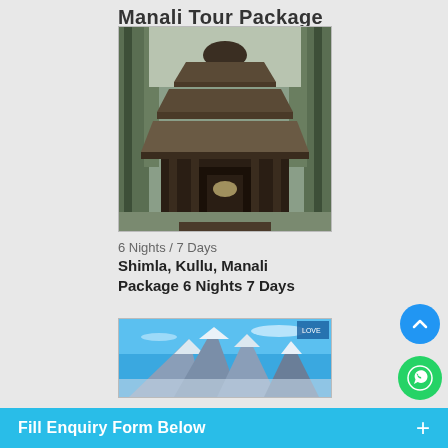Manali Tour Package
[Figure (photo): Wooden tiered pagoda-style temple surrounded by tall pine trees in Manali]
6 Nights / 7 Days
Shimla, Kullu, Manali Package 6 Nights 7 Days
[Figure (photo): Snow-capped mountain peaks under a blue sky, Manali landscape]
Fill Enquiry Form Below +